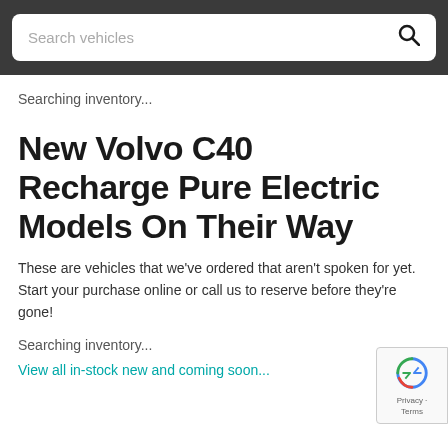Search vehicles
Searching inventory...
New Volvo C40 Recharge Pure Electric Models On Their Way
These are vehicles that we’ve ordered that aren’t spoken for yet. Start your purchase online or call us to reserve before they’re gone!
Searching inventory...
View all in-stock new and coming soon...